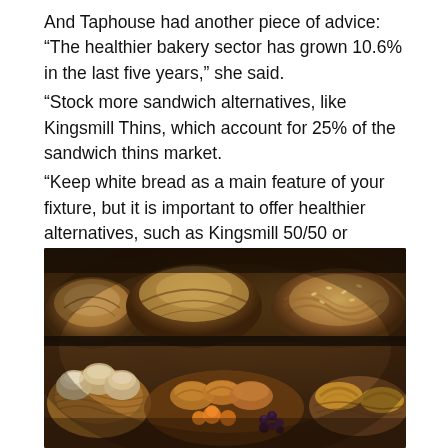And Taphouse had another piece of advice: “The healthier bakery sector has grown 10.6% in the last five years,” she said. “Stock more sandwich alternatives, like Kingsmill Thins, which account for 25% of the sandwich thins market. “Keep white bread as a main feature of your fixture, but it is important to offer healthier alternatives, such as Kingsmill 50/50 or Kingsmill Great White, as well.”
[Figure (photo): A bakery display showing various breads and pastries arranged in baskets and on shelves. The upper shelf has rustic artisan loaves and braided breads. The lower area shows pastries, rolls, small cakes, berries, and other baked goods in wicker baskets.]